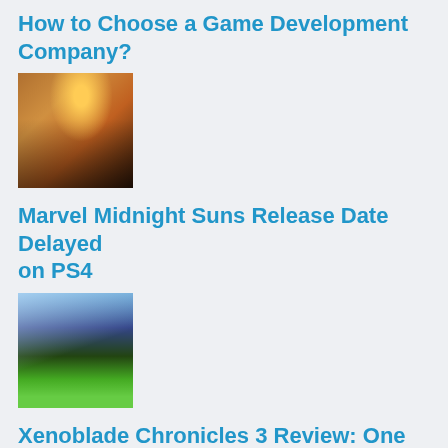How to Choose a Game Development Company?
[Figure (photo): Thumbnail image for game development article showing characters silhouetted against a glowing moon/sun backdrop]
Marvel Midnight Suns Release Date Delayed on PS4
[Figure (photo): Thumbnail image for Marvel Midnight Suns article showing anime-style characters against a stormy sky and giant creature]
Xenoblade Chronicles 3 Review: One of the Best Games of 2022
[Figure (photo): Thumbnail image for Xenoblade Chronicles 3 article showing a glowing character in a cave/dungeon environment]
How to Find Diamonds in Minecraft? [The Best